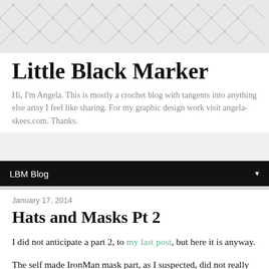[Figure (illustration): Repeating chevron/triangle watermark pattern background in light grey]
Little Black Marker
Hi, I'm Angela. This is mostly a crochet blog with tangents into anything else artsy I feel like sharing. For my graphic design work visit angela-skees.com. Thanks.
LBM Blog
January 17, 2014
Hats and Masks Pt 2
I did not anticipate a part 2, to my last post, but here it is anyway.
The self made IronMan mask part, as I suspected, did not really fit right. So, instead I made a second knight hat in the colors of Iron Man with input from the recipient. As I mentioned before, this Sir Knight hat pattern is really fast and having done it once before, albeit a larger size, meant